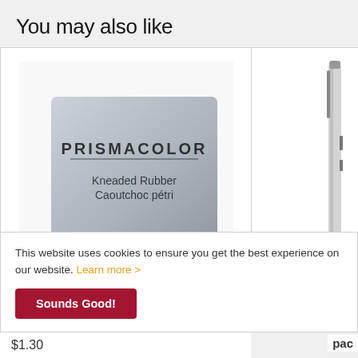You may also like
[Figure (photo): Prismacolor Kneaded Rubber eraser product photo with text 'PRISMACOLOR' and 'Kneaded Rubber / Caoutchoc pétri']
[Figure (photo): Partial view of a pen/stylus on the right side, partially cropped]
This website uses cookies to ensure you get the best experience on our website. Learn more >
Sounds Good!
$1.30
pac